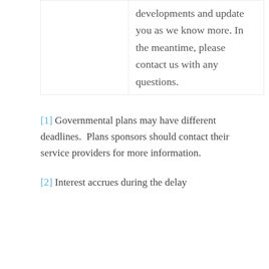|  | developments and update you as we know more. In the meantime, please contact us with any questions. |
[1] Governmental plans may have different deadlines.  Plans sponsors should contact their service providers for more information.
[2] Interest accrues during the delay